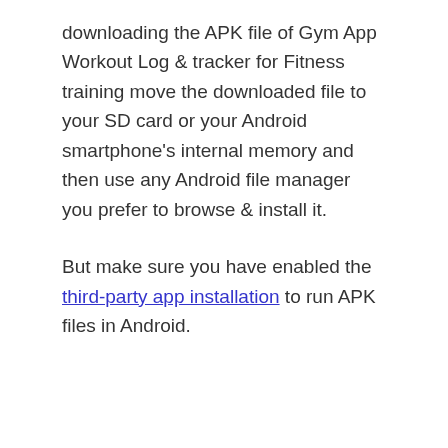downloading the APK file of Gym App Workout Log & tracker for Fitness training move the downloaded file to your SD card or your Android smartphone's internal memory and then use any Android file manager you prefer to browse & install it.
But make sure you have enabled the third-party app installation to run APK files in Android.